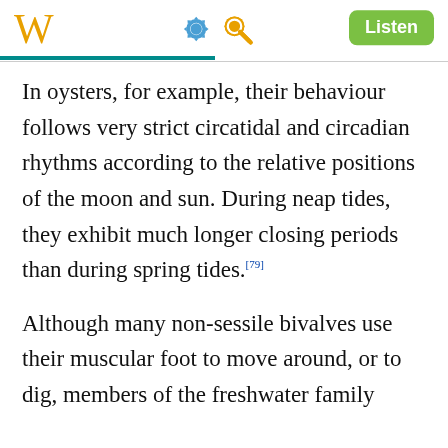W [Wikipedia logo] [gear icon] [search icon] Listen
In oysters, for example, their behaviour follows very strict circatidal and circadian rhythms according to the relative positions of the moon and sun. During neap tides, they exhibit much longer closing periods than during spring tides.[79]
Although many non-sessile bivalves use their muscular foot to move around, or to dig, members of the freshwater family